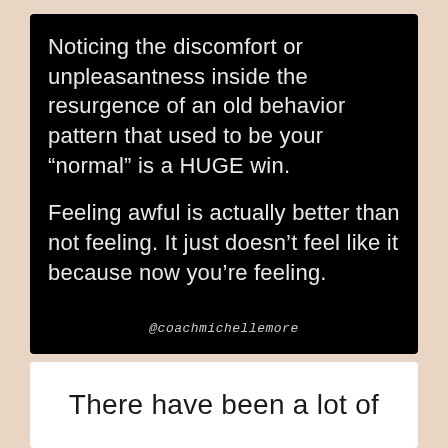Noticing the discomfort or unpleasantness inside the resurgence of an old behavior pattern that used to be your “normal” is a HUGE win.

Feeling awful is actually better than not feeling. It just doesn’t feel like it because now you’re feeling.
@coachmichellemore
There have been a lot of